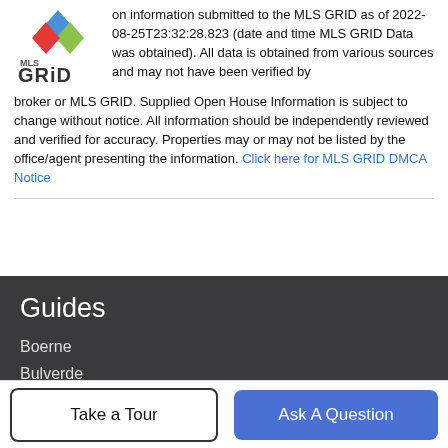on information submitted to the MLS GRID as of 2022-08-25T23:32:28.823 (date and time MLS GRID Data was obtained). All data is obtained from various sources and may not have been verified by broker or MLS GRID. Supplied Open House Information is subject to change without notice. All information should be independently reviewed and verified for accuracy. Properties may or may not be listed by the office/agent presenting the information. Click here for MLS GRID DMCA Notice
[Figure (logo): MLS GRID logo with stacked colored diamond shapes and text]
Guides
Boerne
Bulverde
Canyon Lake
Fischer
New Braunfels
More Guides >
Take a Tour
Ask A Question